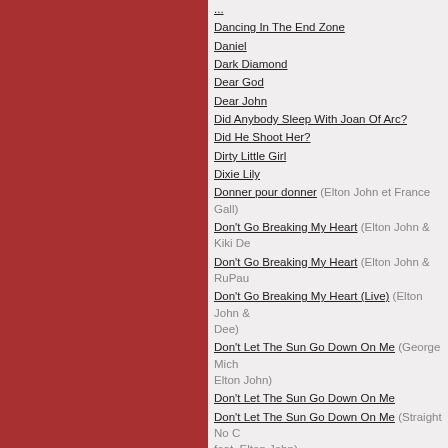Dancing In The End Zone
Daniel
Dark Diamond
Dear God
Dear John
Did Anybody Sleep With Joan Of Arc?
Did He Shoot Her?
Dirty Little Girl
Dixie Lily
Donner pour donner (Elton John et France Gall)
Don't Go Breaking My Heart (Elton John & Kiki De...)
Don't Go Breaking My Heart (Elton John & RuPau...)
Don't Go Breaking My Heart (Live) (Elton John & ... Dee)
Don't Let The Sun Go Down On Me (George Mich... Elton John)
Don't Let The Sun Go Down On Me
Don't Let The Sun Go Down On Me (Straight No C... feat. Elton John)
Don't Stop
Don't Trust That Woman
Dreamboat
Driving Home
Duets For One
Durban Deep
Dyin' Ain't Much Of A Livin' (Jon Bon Jovi with Elton John)
Earn While You Learn
Easier To Walk Away
Ego
Eight Hundred Dollar Shoes (Elton John / Leon R...)
El Dorado
Elderberry Wine
Electricity
Elton's Song
Emily
Empty Garden